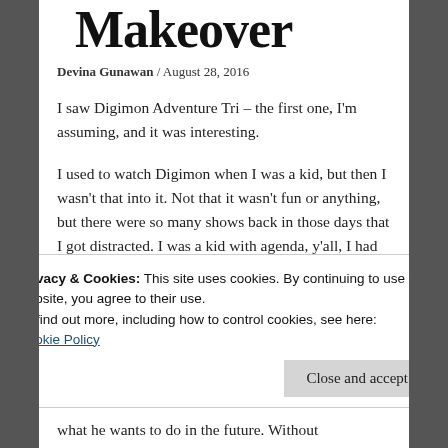Makeover
Devina Gunawan / August 28, 2016
I saw Digimon Adventure Tri – the first one, I'm assuming, and it was interesting.
I used to watch Digimon when I was a kid, but then I wasn't that into it. Not that it wasn't fun or anything, but there were so many shows back in those days that I got distracted. I was a kid with agenda, y'all, I had activities. And in my defense, I didn't have that much fun when I was a kid.
So we started with few years after the Digimon
what he wants to do in the future. Without
Privacy & Cookies: This site uses cookies. By continuing to use this website, you agree to their use.
To find out more, including how to control cookies, see here:
Cookie Policy